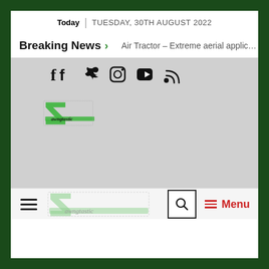Today | TUESDAY, 30TH AUGUST 2022
Breaking News > Air Tractor – Extreme aerial applic…
[Figure (screenshot): Lawngtastic website header screenshot with logo, social icons, breaking news bar, and navigation menu]
Menu